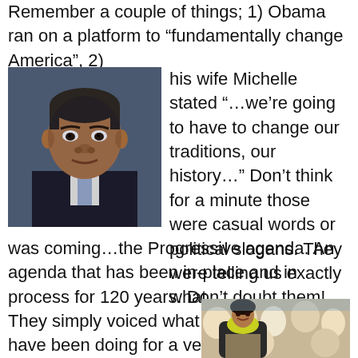Remember a couple of things; 1) Obama ran on a platform to “fundamentally change America”, 2) his wife Michelle stated “…we’re going to have to change our traditions, our history…” Don’t think for a minute those were casual words or political slogans. They were telling us exactly what was coming…the Progressive agenda. An agenda that has been in-place and in process for 120 years. Don’t doubt them! They simply voiced what the Progressives have been doing for a very long time. And as we see the destruction of memorial
[Figure (photo): Close-up photo of Barack Obama in a dark suit looking serious against a blue background]
[Figure (photo): Photo of a woman (appears to be Condoleezza Rice) speaking at a podium outdoors with a crowd in the background, wearing a yellow top and dark jacket]